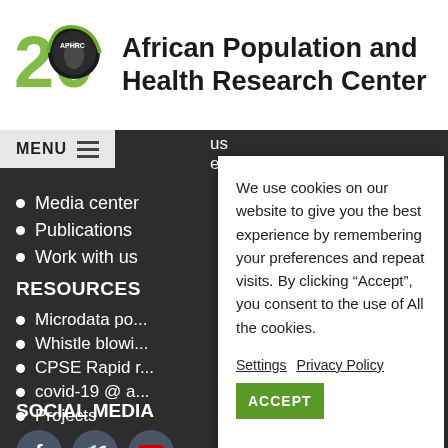[Figure (logo): African Population and Health Research Center logo with '20' anniversary mark in green and circular globe icon]
African Population and Health Research Center
MENU
Media center
Publications
Work with us
RESOURCES
Microdata po...
Whistle blowi...
CPSE Rapid r...
covid-19 @ a...
Projects
SOCIAL MEDIA
[Figure (illustration): Social media icons: Facebook, Twitter, YouTube]
We use cookies on our website to give you the best experience by remembering your preferences and repeat visits. By clicking “Accept”, you consent to the use of All the cookies.
Settings  Privacy Policy  ACCEPT